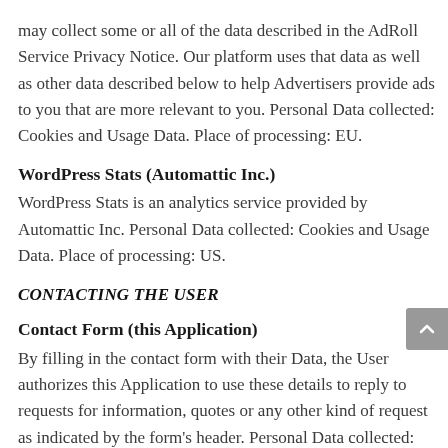may collect some or all of the data described in the AdRoll Service Privacy Notice. Our platform uses that data as well as other data described below to help Advertisers provide ads to you that are more relevant to you. Personal Data collected: Cookies and Usage Data. Place of processing: EU.
WordPress Stats (Automattic Inc.)
WordPress Stats is an analytics service provided by Automattic Inc. Personal Data collected: Cookies and Usage Data. Place of processing: US.
CONTACTING THE USER
Contact Form (this Application)
By filling in the contact form with their Data, the User authorizes this Application to use these details to reply to requests for information, quotes or any other kind of request as indicated by the form's header. Personal Data collected: address,